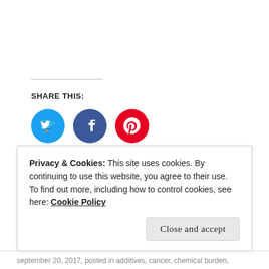SHARE THIS:
[Figure (infographic): Three social media share buttons: Twitter (blue circle with bird icon), Facebook (blue circle with f icon), Pinterest (red circle with P icon)]
Loading...
tagged culture, energy, indonesia, lifestyle, mind, surfing, systems,
Privacy & Cookies: This site uses cookies. By continuing to use this website, you agree to their use. To find out more, including how to control cookies, see here: Cookie Policy
september 20, 2017, posted in additives, cancer, chemical burden,